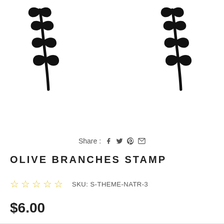[Figure (illustration): Two black olive branch stamp illustrations at top corners of the page - one on upper left and one on upper right, showing stylized branches with leaves.]
Share : f (facebook) (twitter) (pinterest) (email)
OLIVE BRANCHES STAMP
☆☆☆☆☆  SKU: S-THEME-NATR-3
$6.00